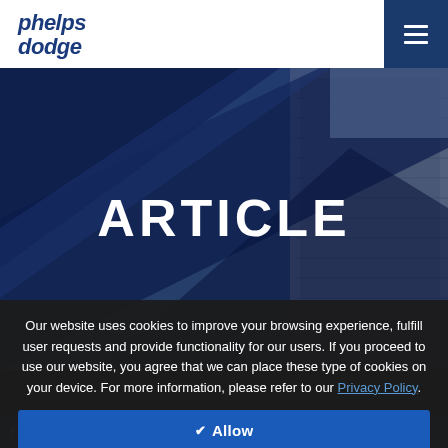[Figure (logo): Phelps Dodge company logo in dark blue italic bold text]
[Figure (photo): Hero banner image showing a tall modern building with geometric blue shapes overlay and the word ARTICLE centered in white bold text]
Our website uses cookies to improve your browsing experience, fulfill user requests and provide functionality for our users. If you proceed to use our website, you agree that we can place these type of cookies on your device. For more information, please refer to our Privacy Policy.
✔ Allow